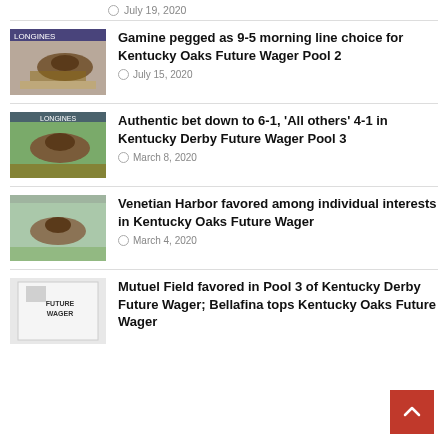July 19, 2020
[Figure (photo): Horse racing photo thumbnail]
Gamine pegged as 9-5 morning line choice for Kentucky Oaks Future Wager Pool 2
July 15, 2020
[Figure (photo): Horse racing photo thumbnail]
Authentic bet down to 6-1, ‘All others’ 4-1 in Kentucky Derby Future Wager Pool 3
March 8, 2020
[Figure (photo): Horse racing photo thumbnail]
Venetian Harbor favored among individual interests in Kentucky Oaks Future Wager
March 4, 2020
[Figure (photo): Kentucky Derby Future Wager sign photo thumbnail]
Mutuel Field favored in Pool 3 of Kentucky Derby Future Wager; Bellafina tops Kentucky Oaks Future Wager